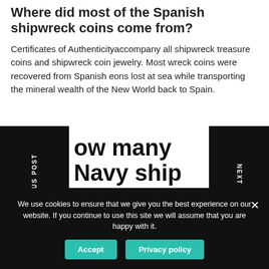Where did most of the Spanish shipwreck coins come from?
Certificates of Authenticityaccompany all shipwreck treasure coins and shipwreck coin jewelry. Most wreck coins were recovered from Spanish eons lost at sea while transporting the mineral wealth of the New World back to Spain.
ow many Navy ship ins are left in stock?
PREVIOUS POST
NEXT POST
We use cookies to ensure that we give you the best experience on our website. If you continue to use this site we will assume that you are happy with it.
Accept
Privacy policy